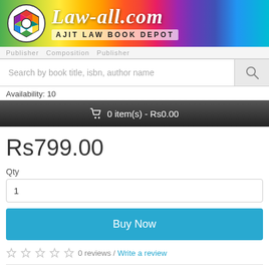[Figure (logo): Law-all.com / Ajit Law Book Depot banner with colorful logo and rainbow gradient background]
Search by book title, isbn, author name
Availability: 10
🛒 0 item(s) - Rs0.00
Rs799.00
Qty
1
Buy Now
0 reviews / Write a review
Tweet
Share